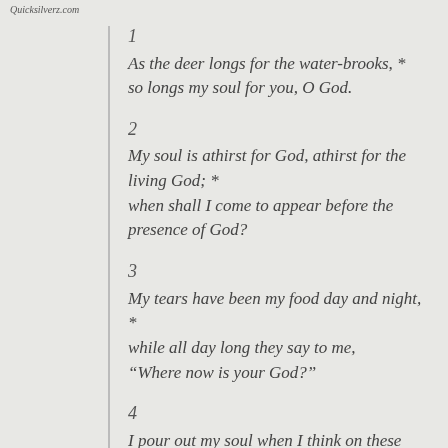Quicksilverz.com
1
As the deer longs for the water-brooks,  *
so longs my soul for you, O God.
2
My soul is athirst for God, athirst for the living God; *
when shall I come to appear before the presence of God?
3
My tears have been my food day and night,  *
while all day long they say to me,
“Where now is your God?”
4
I pour out my soul when I think on these things: